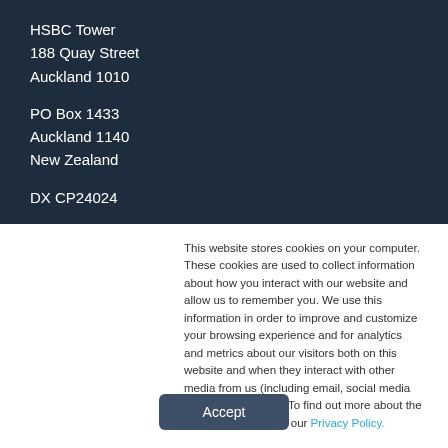HSBC Tower
188 Quay Street
Auckland 1010
PO Box 1433
Auckland 1140
New Zealand
DX CP24024
P: +64 9 358 2555
This website stores cookies on your computer. These cookies are used to collect information about how you interact with our website and allow us to remember you. We use this information in order to improve and customize your browsing experience and for analytics and metrics about our visitors both on this website and when they interact with other media from us (including email, social media and landing pages). To find out more about the cookies we use, see our Privacy Policy.
Accept